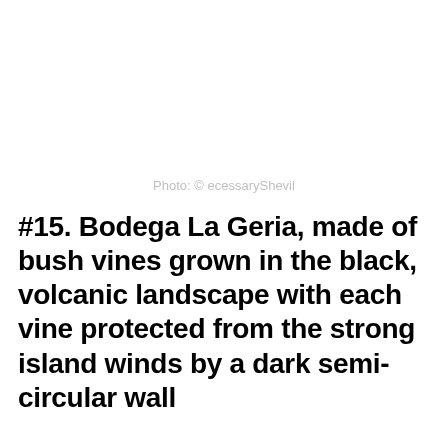Photo: © ecessaryShevil
#15. Bodega La Geria, made of bush vines grown in the black, volcanic landscape with each vine protected from the strong island winds by a dark semi-circular wall